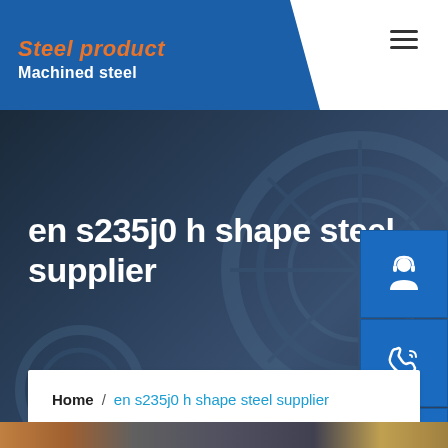Steel product / Machined steel
en s235j0 h shape steel supplier
Home / en s235j0 h shape steel supplier
[Figure (photo): Industrial steel products at the bottom of the page]